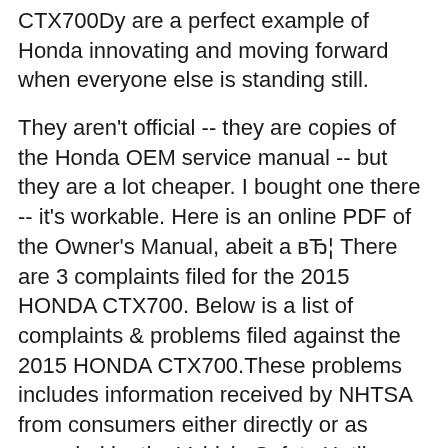CTX700Dy are a perfect example of Honda innovating and moving forward when everyone else is standing still.
They aren't official -- they are copies of the Honda OEM service manual -- but they are a lot cheaper. I bought one there -- it's workable. Here is an online PDF of the Owner's Manual, abeit a вЂ¦ There are 3 complaints filed for the 2015 HONDA CTX700. Below is a list of complaints & problems filed against the 2015 HONDA CTX700.These problems includes information received by NHTSA from consumers either directly or as recorded by the Vehicle Safety Hotline. This information may be used by NHTSA during the investigation process.